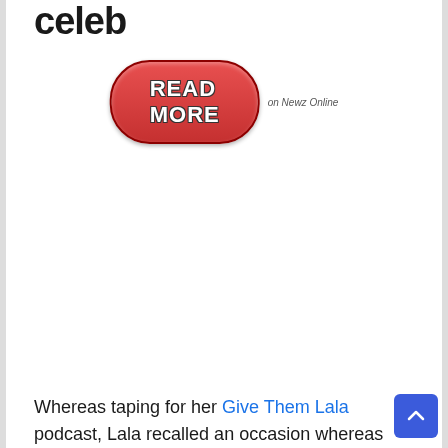celeb
[Figure (other): Red pill-shaped READ MORE button with text in white bold font with dark outline, followed by 'on Newz Online' text in small italic grey font]
Whereas taping for her Give Them Lala podcast, Lala recalled an occasion whereas